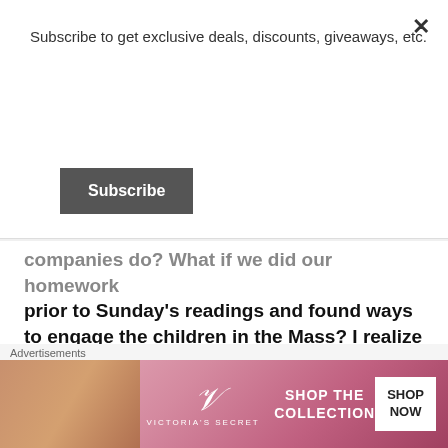Subscribe to get exclusive deals, discounts, giveaways, etc.
Subscribe
companies do? What if we did our homework prior to Sunday's readings and found ways to engage the children in the Mass? I realize this might sound like a daunting task but it need not be thanks to the help of the following resources.....
The Catholic Toolbox
Catholic Mass Activities (parts of Mass, what we do during Mass, etc.)
Advertisements
[Figure (screenshot): Victoria's Secret advertisement banner: model photo on left, VS logo in center, 'SHOP THE COLLECTION' text, and 'SHOP NOW' button on right, pink gradient background]